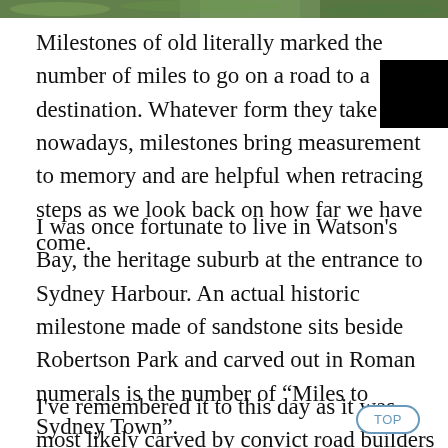[Figure (photo): Partial photo strip at top of page showing green foliage/trees]
Milestones of old literally marked the number of miles to go on a road to a destination. Whatever form they take nowadays, milestones bring measurement to memory and are helpful when retracing steps as we look back on how far we have come.
I was once fortunate to live in Watson’s Bay, the heritage suburb at the entrance to Sydney Harbour. An actual historic milestone made of sandstone sits beside Robertson Park and carved out in Roman numerals is the number of “Miles to Sydney Town”.
I’ve remembered it to this day as it was most likely carved by convict road builders and it still shares this information. Isn’t Google Maps amazing? I’ve been able to track it down and share this image of the small obelisk marker in